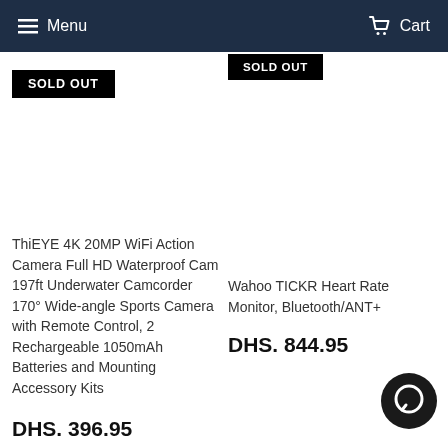Menu  Cart
[Figure (other): SOLD OUT badge on right product (top, partially visible)]
[Figure (other): SOLD OUT badge on left product]
Wahoo TICKR Heart Rate Monitor, Bluetooth/ANT+
DHS. 844.95
ThiEYE 4K 20MP WiFi Action Camera Full HD Waterproof Cam 197ft Underwater Camcorder 170° Wide-angle Sports Camera with Remote Control, 2 Rechargeable 1050mAh Batteries and Mounting Accessory Kits
DHS. 396.95
[Figure (other): Chat/messenger bubble icon in bottom right corner]